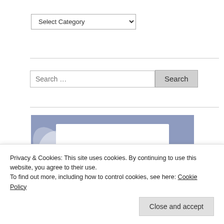[Figure (screenshot): Dropdown select box labeled 'Select Category' with a dropdown arrow]
[Figure (screenshot): Search input field with placeholder 'Search …' and a 'Search' button]
[Figure (illustration): Creative Fabrica branded image with blue/purple background and white card showing 'READ MY CRAFTING' text in bold dark navy]
Privacy & Cookies: This site uses cookies. By continuing to use this website, you agree to their use.
To find out more, including how to control cookies, see here: Cookie Policy
[Figure (screenshot): Close and accept button for cookie banner]